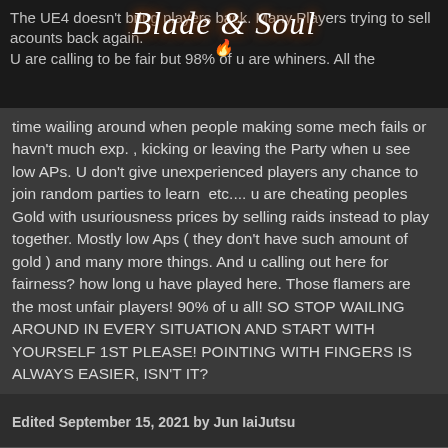The UE4 doesn't bring players back. Many Players trying to sell acounts back again. U are calling to be fair but 98% of u are whiners. All the time wailing around when people making some mech fails or havn't much exp. , kicking or leaving the Party when u see low APs. U don't give unexperienced players any chance to join random parties to learn  etc.... u are cheating peoples Gold with usuriousness prices by selling raids instead to play together. Mostly low Aps ( they don't have such amount of gold ) and many more things. And u calling out here for fairness? how long u have played here. Those flamers are the most unfair players! 90% of u all! SO STOP WAILING AROUND IN EVERY SITUATION AND START WITH YOURSELF 1ST PLEASE! POINTING WITH FINGERS IS ALWAYS EASIER, ISN'T IT?
Edited September 15, 2021 by Jun IaiJutsu